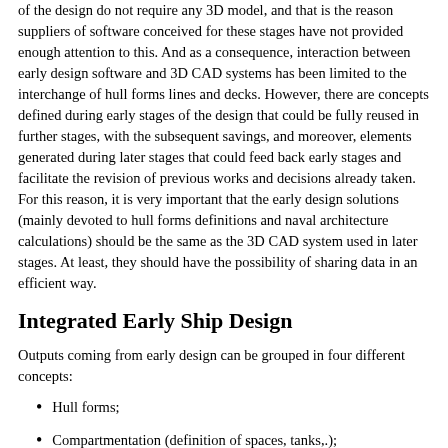of the design do not require any 3D model, and that is the reason suppliers of software conceived for these stages have not provided enough attention to this. And as a consequence, interaction between early design software and 3D CAD systems has been limited to the interchange of hull forms lines and decks. However, there are concepts defined during early stages of the design that could be fully reused in further stages, with the subsequent savings, and moreover, elements generated during later stages that could feed back early stages and facilitate the revision of previous works and decisions already taken. For this reason, it is very important that the early design solutions (mainly devoted to hull forms definitions and naval architecture calculations) should be the same as the 3D CAD system used in later stages. At least, they should have the possibility of sharing data in an efficient way.
Integrated Early Ship Design
Outputs coming from early design can be grouped in four different concepts:
Hull forms;
Compartmentation (definition of spaces, tanks,.);